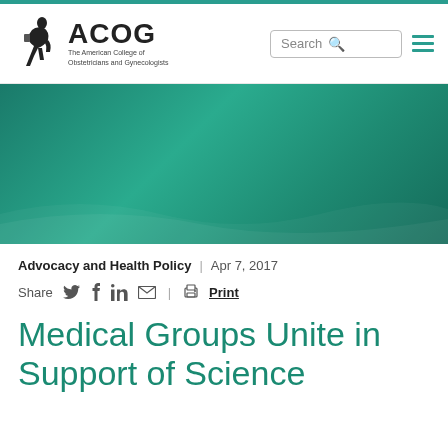ACOG — The American College of Obstetricians and Gynecologists
[Figure (illustration): ACOG logo with seated figure and text: The American College of Obstetricians and Gynecologists]
Advocacy and Health Policy  |  Apr 7, 2017
Share  [Twitter] [Facebook] [LinkedIn] [Email]  |  [Print icon] Print
Medical Groups Unite in Support of Science